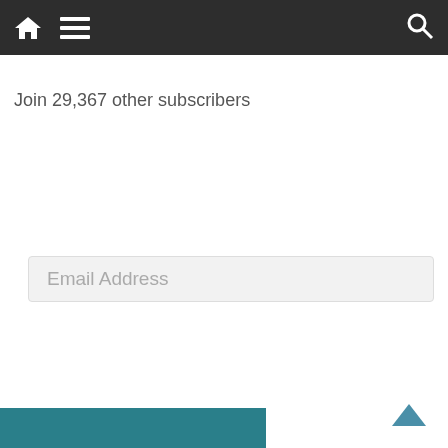Navigation bar with home, menu, and search icons
Join 29,367 other subscribers
[Figure (screenshot): Email Address input field]
[Figure (screenshot): Subscribe button, dark rounded rectangle]
[Figure (infographic): CheckPageRank.net badge showing Page Rank 4/10 with a green progress bar]
Teal footer bar with scroll-to-top arrow